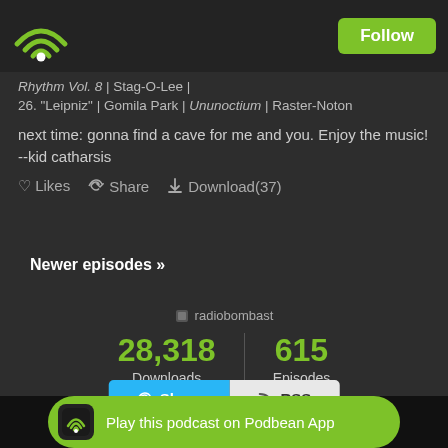[Figure (screenshot): Podbean podcast app page header with wifi/signal icon and Follow button]
Rhythm Vol. 8 | Stag-O-Lee |
26. "Leipniz" | Gomila Park | Ununoctium | Raster-Noton
next time: gonna find a cave for me and you. Enjoy the music! --kid catharsis
♡ Likes   Share   Download(37)
Newer episodes »
radiobombast
28,318
Downloads
615
Episodes
Share   RSS
Play this podcast on Podbean App